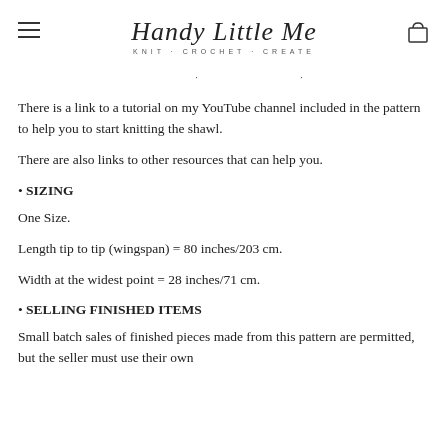Handy Little Me — Knit · Crochet · Create
There is a link to a tutorial on my YouTube channel included in the pattern to help you to start knitting the shawl.
There are also links to other resources that can help you.
• SIZING
One Size.
Length tip to tip (wingspan) = 80 inches/203 cm.
Width at the widest point = 28 inches/71 cm.
• SELLING FINISHED ITEMS
Small batch sales of finished pieces made from this pattern are permitted, but the seller must use their own